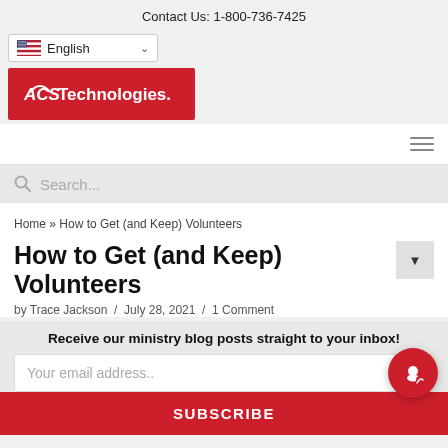Contact Us: 1-800-736-7425
[Figure (logo): Language selector dropdown showing US flag and 'English' with chevron]
[Figure (logo): ACS Technologies red logo box with white text]
[Figure (screenshot): Navigation hamburger menu icon (three horizontal lines)]
[Figure (screenshot): Search bar with magnifying glass icon and placeholder text 'Search...']
Home » How to Get (and Keep) Volunteers
How to Get (and Keep) Volunteers
by Trace Jackson  /  July 28, 2021  /  1 Comment
Receive our ministry blog posts straight to your inbox!
Your email address..
SUBSCRIBE